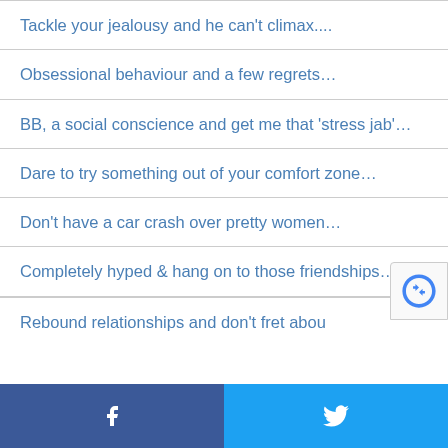Tackle your jealousy and he can't climax....
Obsessional behaviour and a few regrets…
BB, a social conscience and get me that 'stress jab'…
Dare to try something out of your comfort zone…
Don't have a car crash over pretty women…
Completely hyped & hang on to those friendships…
Rebound relationships and don't fret abou…
f  [twitter bird icon]